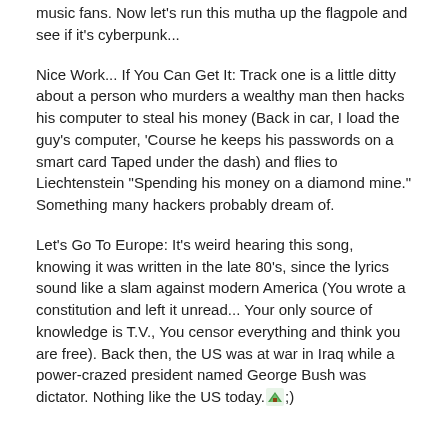music fans. Now let's run this mutha up the flagpole and see if it's cyberpunk...
Nice Work... If You Can Get It: Track one is a little ditty about a person who murders a wealthy man then hacks his computer to steal his money (Back in car, I load the guy's computer, 'Course he keeps his passwords on a smart card Taped under the dash) and flies to Liechtenstein "Spending his money on a diamond mine." Something many hackers probably dream of.
Let's Go To Europe: It's weird hearing this song, knowing it was written in the late 80's, since the lyrics sound like a slam against modern America (You wrote a constitution and left it unread... Your only source of knowledge is T.V., You censor everything and think you are free). Back then, the US was at war in Iraq while a power-crazed president named George Bush was dictator. Nothing like the US today. [image];)